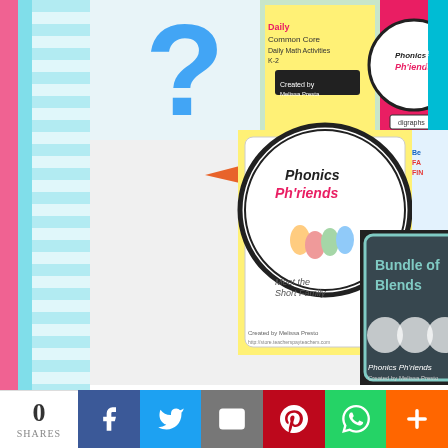[Figure (photo): Collage of educational product covers: Phonics Ph'riends, Bundle of Blends, Common Core Daily Math Activities, digraphs, Show the Number, and Be a Fact Finder covers with an orange arrow pointing to one.]
If you're looking for some more shopp... sellers who have joined in by going to... linking to the sales fro...
[Figure (infographic): Social sharing bar with 0 shares count and buttons for Facebook, Twitter, Email, Pinterest, WhatsApp, and More (+).]